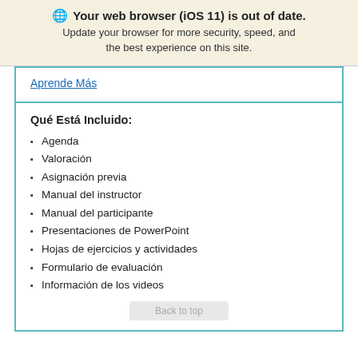Your web browser (iOS 11) is out of date. Update your browser for more security, speed, and the best experience on this site.
Aprende Más
Qué Está Incluido:
Agenda
Valoración
Asignación previa
Manual del instructor
Manual del participante
Presentaciones de PowerPoint
Hojas de ejercicios y actividades
Formulario de evaluación
Información de los videos
Back to top